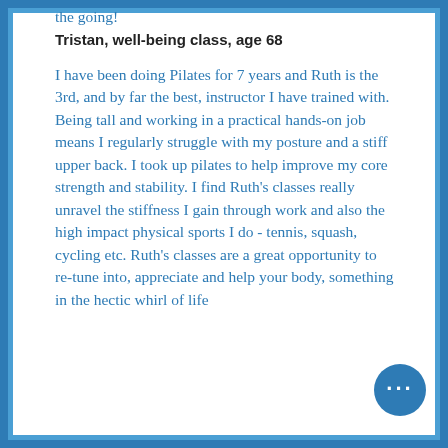the going!
Tristan, well-being class, age 68
I have been doing Pilates for 7 years and Ruth is the 3rd, and by far the best, instructor I have trained with. Being tall and working in a practical hands-on job means I regularly struggle with my posture and a stiff upper back. I took up pilates to help improve my core strength and stability. I find Ruth's classes really unravel the stiffness I gain through work and also the high impact physical sports I do - tennis, squash, cycling etc. Ruth's classes are a great opportunity to re-tune into, appreciate and help your body, something in the hectic whirl of life